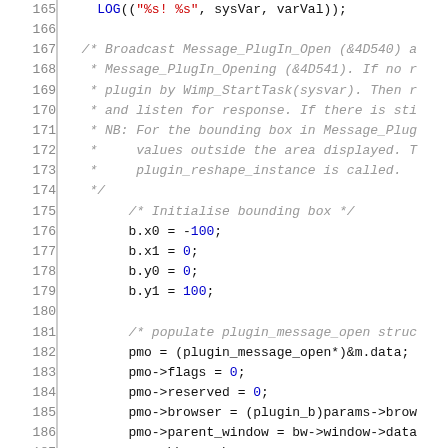[Figure (screenshot): Source code listing showing C code lines 165-194, featuring LOG macro call, comments about Broadcast Message_PlugIn_Open, bounding box initialization, plugin_message_open struct population, and message sending code.]